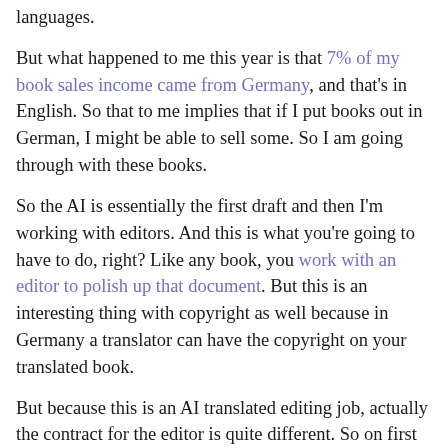languages.
But what happened to me this year is that 7% of my book sales income came from Germany, and that's in English. So that to me implies that if I put books out in German, I might be able to sell some. So I am going through with these books.
So the AI is essentially the first draft and then I'm working with editors. And this is what you're going to have to do, right? Like any book, you work with an editor to polish up that document. But this is an interesting thing with copyright as well because in Germany a translator can have the copyright on your translated book.
But because this is an AI translated editing job, actually the contract for the editor is quite different. So on first glance, you could say, "Oh